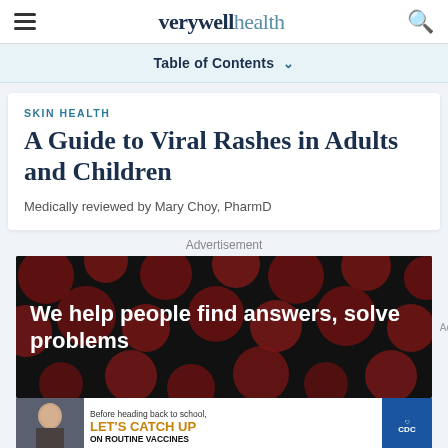verywell health
Table of Contents
SKIN HEALTH
A Guide to Viral Rashes in Adults and Children
Medically reviewed by Mary Choy, PharmD
Advertisement
[Figure (photo): Advertisement banner: dark background with dark red polka dot circles. White bold text reads: 'We help people find answers, solve problems']
[Figure (photo): Vaccine advertisement: child smiling, text 'Before heading back to school, LET'S CATCH UP ON ROUTINE VACCINES' with CDC logo]